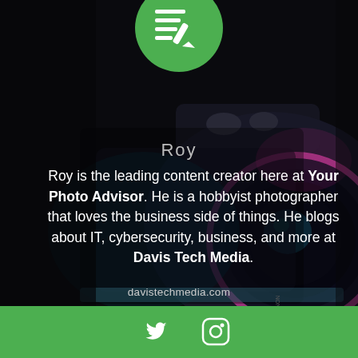[Figure (illustration): Green circle icon with notepad/pen symbol at top of page, partially cropped]
[Figure (photo): Dark background photo of a camera (Fujifilm), close-up of lens and body with teal/pink lighting]
Roy
Roy is the leading content creator here at Your Photo Advisor. He is a hobbyist photographer that loves the business side of things. He blogs about IT, cybersecurity, business, and more at Davis Tech Media.
davistechmedia.com
[Figure (illustration): Green bar at bottom with Twitter and Instagram social media icons in white]